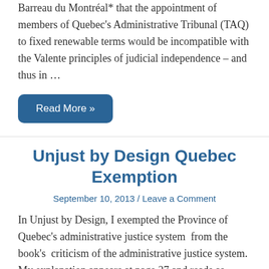Barreau du Montréal* that the appointment of members of Quebec's Administrative Tribunal (TAQ) to fixed renewable terms would be incompatible with the Valente principles of judicial independence – and thus in …
Read More »
Unjust by Design Quebec Exemption
September 10, 2013 / Leave a Comment
In Unjust by Design, I exempted the Province of Quebec's administrative justice system  from the book's  criticism of the administrative justice system.  My explanation appears at page 27 and reads as follows: Why is my criticism of the administrative justice …